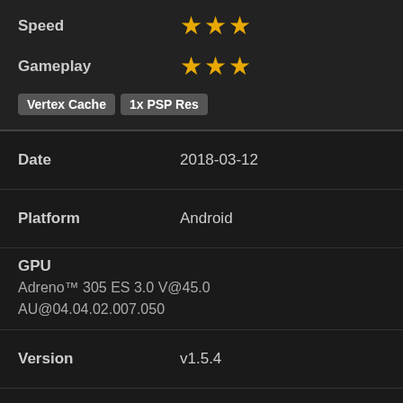Speed — 3 stars (top section)
Gameplay — 3 stars (top section)
Tags: Vertex Cache, 1x PSP Res
Date: 2018-03-12
Platform: Android
GPU: Adreno™ 305 ES 3.0 V@45.0 AU@04.04.02.007.050
Version: v1.5.4
Compat: Perfect
Graphics — 1 star out of 3
Speed — 3 stars
Gameplay — 3 stars (partial, cut off)